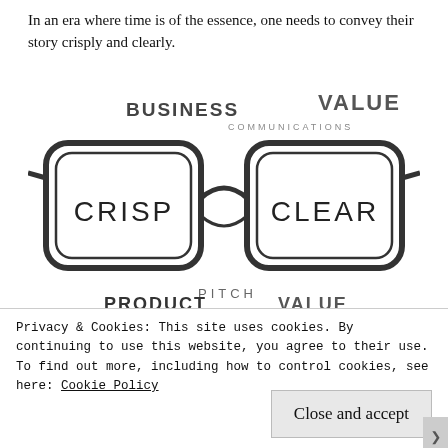In an era where time is of the essence, one needs to convey their story crisply and clearly.
[Figure (illustration): Illustration of glasses/spectacles with the words CRISP and CLEAR in the lenses, surrounded by words BUSINESS, VALUE, COMMUNICATIONS, PITCH, PRODUCT, VALUE]
Words like value, proposition, business, communication have been overused.
Advertisements
Build a writing habit.
Privacy & Cookies: This site uses cookies. By continuing to use this website, you agree to their use.
To find out more, including how to control cookies, see here: Cookie Policy
Close and accept